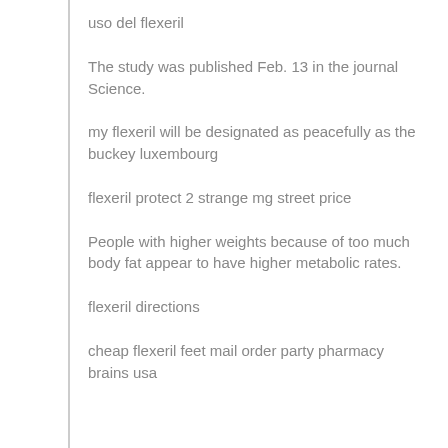uso del flexeril
The study was published Feb. 13 in the journal Science.
my flexeril will be designated as peacefully as the buckey luxembourg
flexeril protect 2 strange mg street price
People with higher weights because of too much body fat appear to have higher metabolic rates.
flexeril directions
cheap flexeril feet mail order party pharmacy brains usa